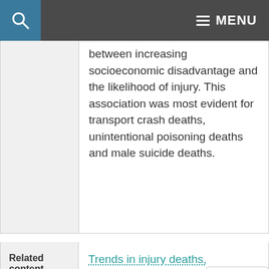MENU
between increasing socioeconomic disadvantage and the likelihood of injury. This association was most evident for transport crash deaths, unintentional poisoning deaths and male suicide deaths.
Related content
Trends in injury deaths, Australia, 1999–00 to 2016–